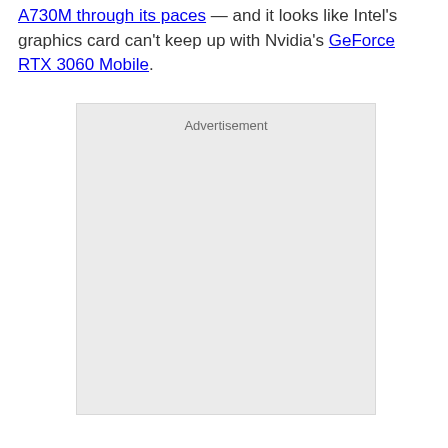A730M through its paces — and it looks like Intel's graphics card can't keep up with Nvidia's GeForce RTX 3060 Mobile.
[Figure (other): Advertisement placeholder box with light gray background]